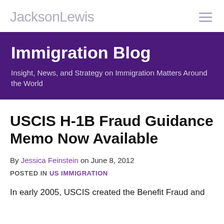JacksonLewis
Immigration Blog
Insight, News, and Strategy on Immigration Matters Around the World
USCIS H-1B Fraud Guidance Memo Now Available
By Jessica Feinstein on June 8, 2012
POSTED IN US IMMIGRATION
In early 2005, USCIS created the Benefit Fraud and